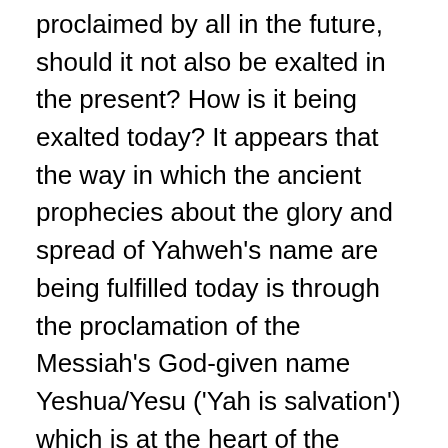proclaimed by all in the future, should it not also be exalted in the present? How is it being exalted today? It appears that the way in which the ancient prophecies about the glory and spread of Yahweh's name are being fulfilled today is through the proclamation of the Messiah's God-given name Yeshua/Yesu ('Yah is salvation') which is at the heart of the apostolic gospel. It is difficult to see how the foregoing prophecies are being fulfilled in any other way at present. And if this be so, it is imperative that the name Yeshua/Yesu be transliterated with the greatest care and transparency possible in the new translations and revisions, so that the name of Yahweh embedded within it finds reasonable echo, thus setting the